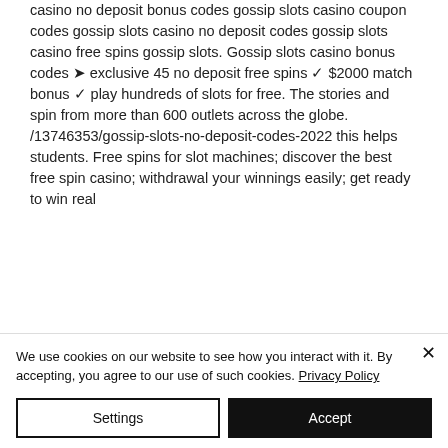casino no deposit bonus codes gossip slots casino coupon codes gossip slots casino no deposit codes gossip slots casino free spins gossip slots. Gossip slots casino bonus codes ➤ exclusive 45 no deposit free spins ✓ $2000 match bonus ✓ play hundreds of slots for free. The stories and spin from more than 600 outlets across the globe. /13746353/gossip-slots-no-deposit-codes-2022 this helps students. Free spins for slot machines; discover the best free spin casino; withdrawal your winnings easily; get ready to win real
We use cookies on our website to see how you interact with it. By accepting, you agree to our use of such cookies. Privacy Policy